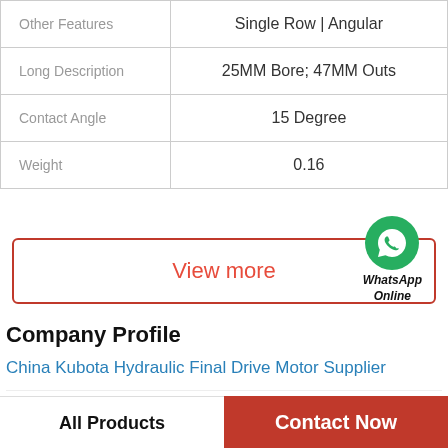| Feature | Value |
| --- | --- |
| Other Features | Single Row | Angular |
| Long Description | 25MM Bore; 47MM Outs |
| Contact Angle | 15 Degree |
| Weight | 0.16 |
[Figure (other): View more button with WhatsApp Online green circle icon and text]
Company Profile
China Kubota Hydraulic Final Drive Motor Supplier
Phone   +1 968 387 2900
All Products   Contact Now